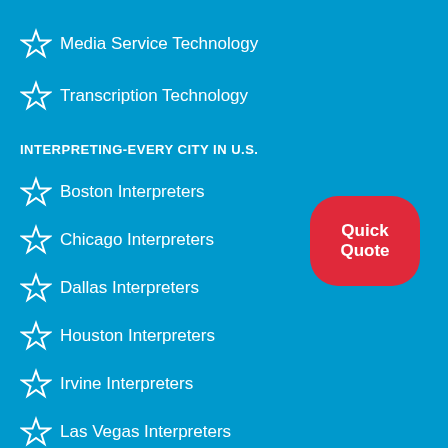Media Service Technology
Transcription Technology
INTERPRETING-EVERY CITY IN U.S.
Boston Interpreters
Chicago Interpreters
Dallas Interpreters
Houston Interpreters
Irvine Interpreters
Las Vegas Interpreters
Los Angeles Interpreters
Miami Interpreters
[Figure (other): Red rounded rectangle button with text 'Quick Quote']